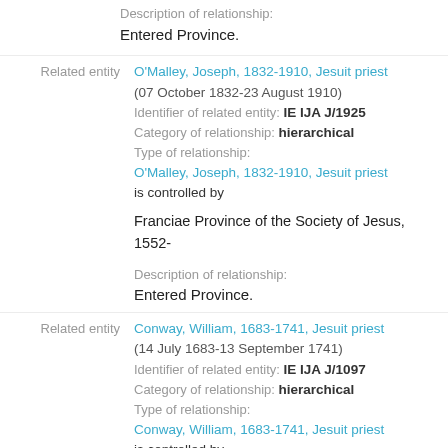Description of relationship: Entered Province.
Related entity O'Malley, Joseph, 1832-1910, Jesuit priest (07 October 1832-23 August 1910) Identifier of related entity: IE IJA J/1925 Category of relationship: hierarchical Type of relationship: O'Malley, Joseph, 1832-1910, Jesuit priest is controlled by Franciae Province of the Society of Jesus, 1552- Description of relationship: Entered Province.
Related entity Conway, William, 1683-1741, Jesuit priest (14 July 1683-13 September 1741) Identifier of related entity: IE IJA J/1097 Category of relationship: hierarchical Type of relationship: Conway, William, 1683-1741, Jesuit priest is controlled by Franciae Province of the Society of Jesus,